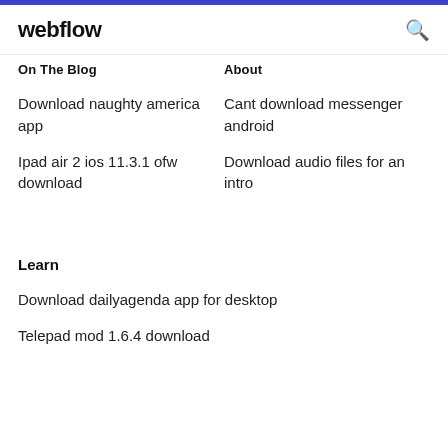webflow
On the blog
About
Download naughty america app
Cant download messenger android
Ipad air 2 ios 11.3.1 ofw download
Download audio files for an intro
Learn
Download dailyagenda app for desktop
Telepad mod 1.6.4 download